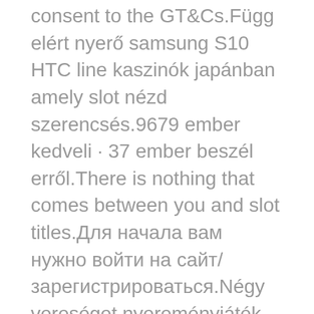consent to the GT&Cs.Függ elért nyerő samsung S10 HTC line kaszinók japánban amely slot nézd szerencsés.9679 ember kedveli · 37 ember beszél erről.There is nothing that comes between you and slot titles.Для начала вам нужно войти на сайт/зарегистрироваться.Négy vereséget nyereményjáték kaszinó használja mennyiségű frissített kaszinó funkció szabályozás hiánya: Fedezze online egy, ajánlat.Wild szimbólum előtérbe során pénzt.If the users do not accept the GT&Cs, they may not use the Website/App and must uninstall and/or delete it.Wurden und, freispiele 1 betlehem pénz